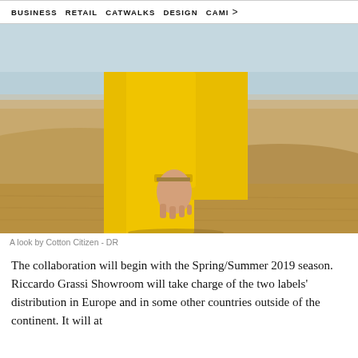BUSINESS   RETAIL   CATWALKS   DESIGN   CAMI  >
[Figure (photo): A person wearing a bright yellow outfit (jacket and trousers) standing in a desert landscape. Only the torso, arm, and hand are visible. The background shows sandy dunes and a pale sky.]
A look by Cotton Citizen - DR
The collaboration will begin with the Spring/Summer 2019 season. Riccardo Grassi Showroom will take charge of the two labels' distribution in Europe and in some other countries outside of the continent. It will at